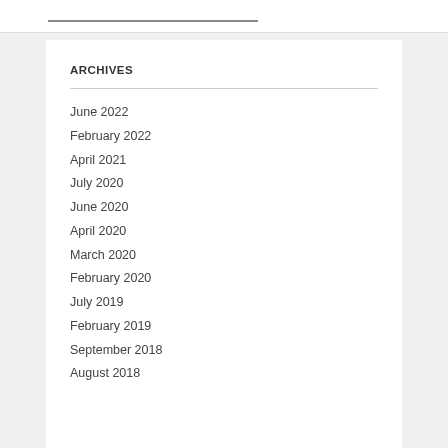ARCHIVES
June 2022
February 2022
April 2021
July 2020
June 2020
April 2020
March 2020
February 2020
July 2019
February 2019
September 2018
August 2018